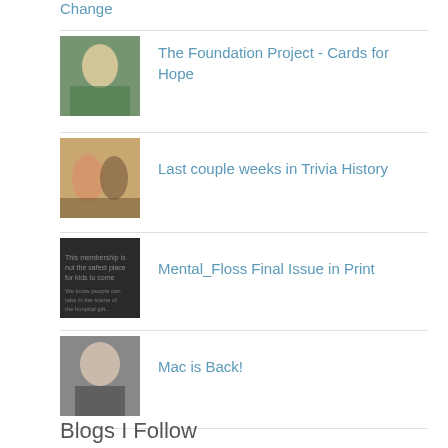Change
The Foundation Project - Cards for Hope
Last couple weeks in Trivia History
Mental_Floss Final Issue in Print
Mac is Back!
Blogs I Follow